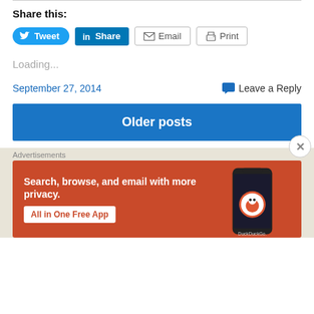Share this:
[Figure (screenshot): Social sharing buttons: Tweet (blue pill), Share on LinkedIn (blue rectangle), Email (outlined), Print (outlined)]
Loading...
September 27, 2014
Leave a Reply
Older posts
Advertisements
[Figure (screenshot): DuckDuckGo advertisement banner: orange/red background with text 'Search, browse, and email with more privacy. All in One Free App' with a phone showing the DuckDuckGo app.]